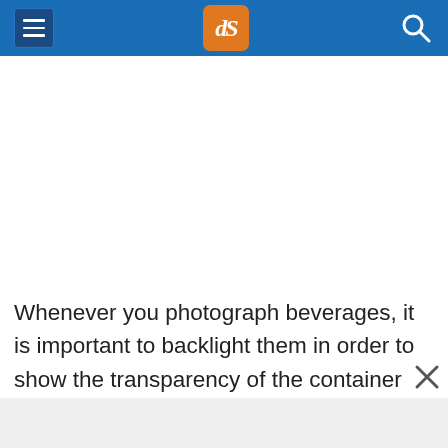dPS website header with hamburger menu, dPS logo, and search icon
Whenever you photograph beverages, it is important to backlight them in order to show the transparency of the container and/or liquid. That is what makes soda, iced tea and beer ads